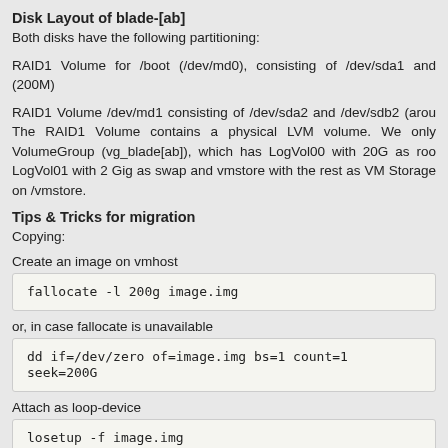Disk Layout of blade-[ab]
Both disks have the following partitioning:
RAID1 Volume for /boot (/dev/md0), consisting of /dev/sda1 and (200M)
RAID1 Volume /dev/md1 consisting of /dev/sda2 and /dev/sdb2 (arou The RAID1 Volume contains a physical LVM volume. We only VolumeGroup (vg_blade[ab]), which has LogVol00 with 20G as roo LogVol01 with 2 Gig as swap and vmstore with the rest as VM Storage on /vmstore.
Tips & Tricks for migration
Copying:
Create an image on vmhost
[Figure (screenshot): Code block: fallocate -l 200g image.img]
or, in case fallocate is unavailable
[Figure (screenshot): Code block: dd if=/dev/zero of=image.img bs=1 count=1 seek=200G]
Attach as loop-device
[Figure (screenshot): Code block: losetup -f image.img]